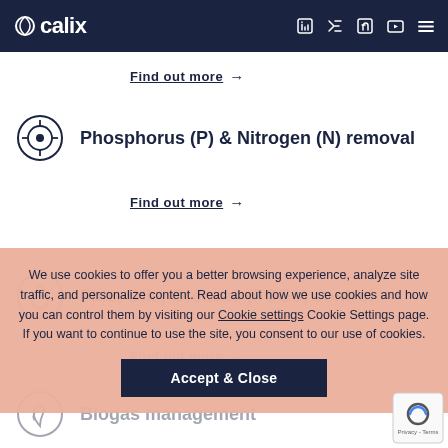Calix navigation bar with logo and social media icons
Find out more →
Phosphorus (P) & Nitrogen (N) removal
Find out more →
Fats, Oils, Greases (FOGs) control
Find out more →
Biogas management
Find out more →
We use cookies to offer you a better browsing experience, analyze site traffic, and personalize content. Read about how we use cookies and how you can control them by visiting our Cookie settings Cookie Settings page. If you want to continue to use the site, you consent to our use of cookies. Accept & Close